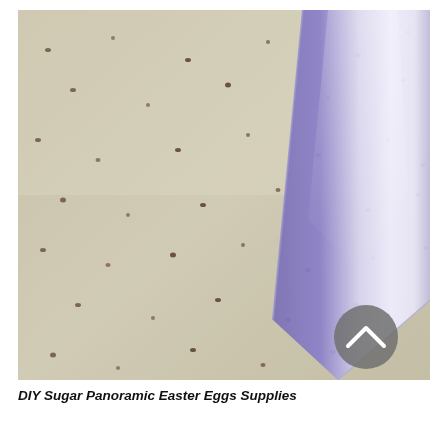[Figure (photo): Close-up photo of a speckled beige/tan surface (granulated sugar or similar grainy material) with a purple and clear plastic bag or packaging visible on the right side. A circular grey back-to-top arrow button is visible in the lower right corner of the image.]
DIY Sugar Panoramic Easter Eggs Supplies